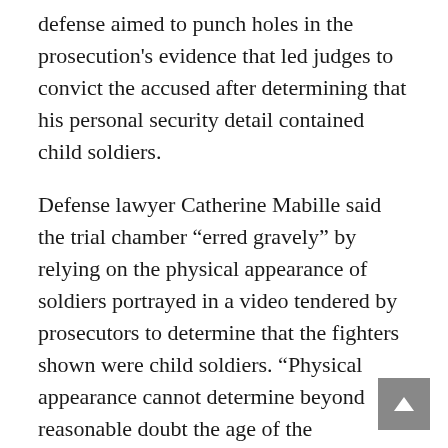defense aimed to punch holes in the prosecution's evidence that led judges to convict the accused after determining that his personal security detail contained child soldiers.
Defense lawyer Catherine Mabille said the trial chamber “erred gravely” by relying on the physical appearance of soldiers portrayed in a video tendered by prosecutors to determine that the fighters shown were child soldiers. “Physical appearance cannot determine beyond reasonable doubt the age of the individual,” she stated.
She also said although the Office of the Prosecutor (OTP) had exculpatory evidence